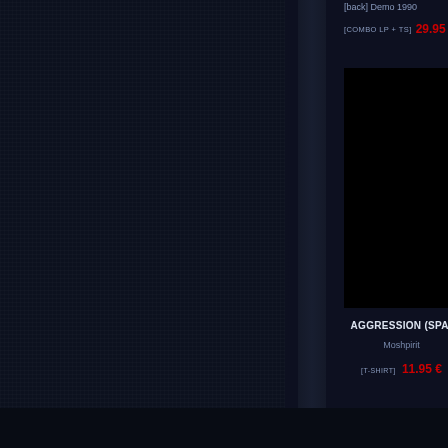[back] Demo 1990
[COMBO LP + TS]  29.95 €
Demo 19...
[T-SHIRT]  14...
[Figure (photo): Black product image for AGGRESSION (SPA) Moshpirit T-shirt]
AGGRESSION (SPA)
Moshpirit
[T-SHIRT]  11.95 €
[Figure (photo): Black product image for OBSCUR... Darkness Mus... T-shirt]
OBSCUR...
Darkness Mus...
[T-SHIRT]  11...